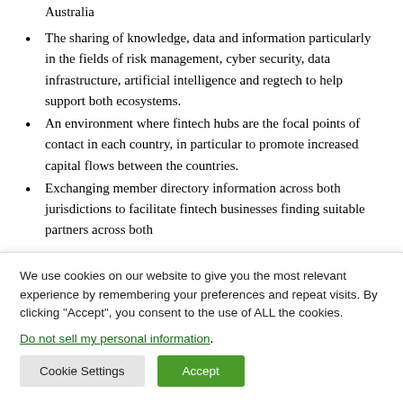Australia
The sharing of knowledge, data and information particularly in the fields of risk management, cyber security, data infrastructure, artificial intelligence and regtech to help support both ecosystems.
An environment where fintech hubs are the focal points of contact in each country, in particular to promote increased capital flows between the countries.
Exchanging member directory information across both jurisdictions to facilitate fintech businesses finding suitable partners across both
We use cookies on our website to give you the most relevant experience by remembering your preferences and repeat visits. By clicking “Accept”, you consent to the use of ALL the cookies.
Do not sell my personal information.